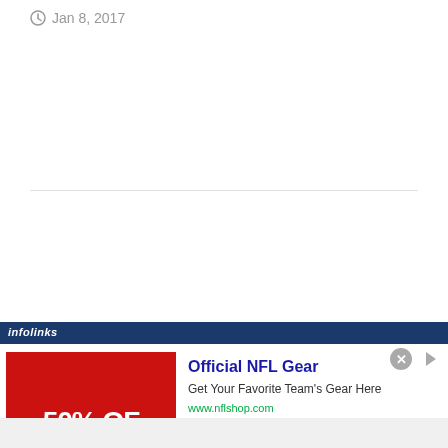Jan 8, 2017
[Figure (other): Infolinks advertisement banner for Official NFL Gear. Red image showing 50% OFF text. Ad text: Official NFL Gear - Get Your Favorite Team's Gear Here - www.nflshop.com]